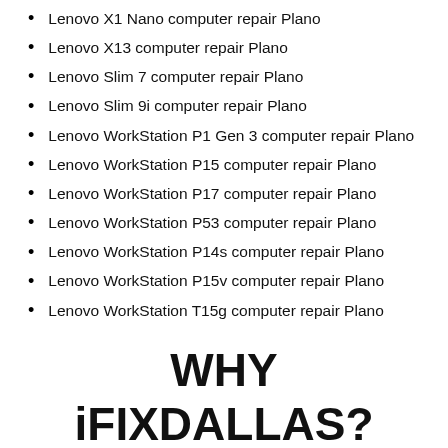Lenovo X1 Nano computer repair Plano
Lenovo X13 computer repair Plano
Lenovo Slim 7 computer repair Plano
Lenovo Slim 9i computer repair Plano
Lenovo WorkStation P1 Gen 3 computer repair Plano
Lenovo WorkStation P15 computer repair Plano
Lenovo WorkStation P17 computer repair Plano
Lenovo WorkStation P53 computer repair Plano
Lenovo WorkStation P14s computer repair Plano
Lenovo WorkStation P15v computer repair Plano
Lenovo WorkStation T15g computer repair Plano
WHY iFIXDALLAS?
iFixDallas is an industry-leading service center, where we repair and provide services in all Apple, Microsoft Surface Pro, Windows, Linux, Samsung, HP, iPhone,